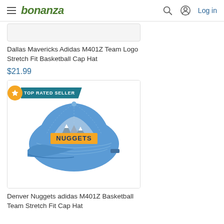bonanza | Log in
[Figure (photo): Partial product image (top portion of Dallas Mavericks cap item card), mostly white/grey background]
Dallas Mavericks Adidas M401Z Team Logo Stretch Fit Basketball Cap Hat
$21.99
[Figure (photo): Denver Nuggets adidas M401Z Basketball Team Stretch Fit Cap Hat — blue cap with yellow Nuggets logo, shown on white background. Badge: TOP RATED SELLER]
Denver Nuggets adidas M401Z Basketball Team Stretch Fit Cap Hat